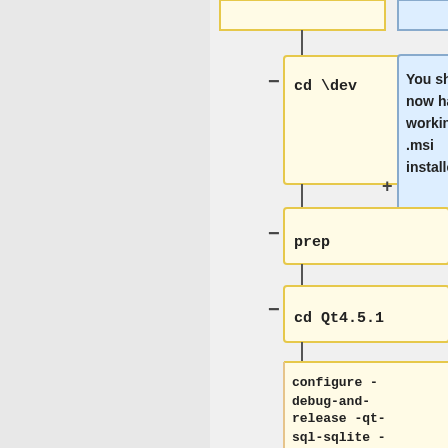[Figure (flowchart): Flowchart showing a sequence of build steps: 'cd \dev' command box connected with minus connector, a note box 'You should now have a working .msi installer.' connected with plus, then 'prep' step, then 'cd Qt4.5.1', then a large command box with 'configure -debug-and-release -qt-sql-sqlite -qt-sql-mysql -no-qt3support -no-exceptions -qt-zlib -qt-libpng -qt-libjpeg -' (continuing off page). All command boxes are yellow, note box is blue.]